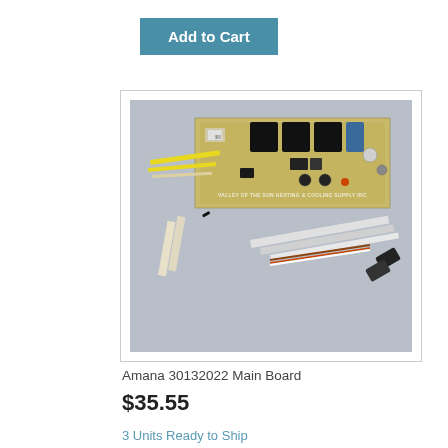Add to Cart
[Figure (photo): Photo of an Amana 30132022 Main Board circuit board with yellow wires and white wire harness connectors, watermarked 'VALLEY OF THE SUN HEATING & COOLING SUPPLY INC']
Amana 30132022 Main Board
$35.55
3 Units Ready to Ship